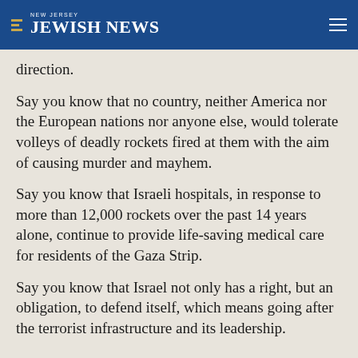NEW JERSEY JEWISH NEWS
direction.
Say you know that no country, neither America nor the European nations nor anyone else, would tolerate volleys of deadly rockets fired at them with the aim of causing murder and mayhem.
Say you know that Israeli hospitals, in response to more than 12,000 rockets over the past 14 years alone, continue to provide life-saving medical care for residents of the Gaza Strip.
Say you know that Israel not only has a right, but an obligation, to defend itself, which means going after the terrorist infrastructure and its leadership.